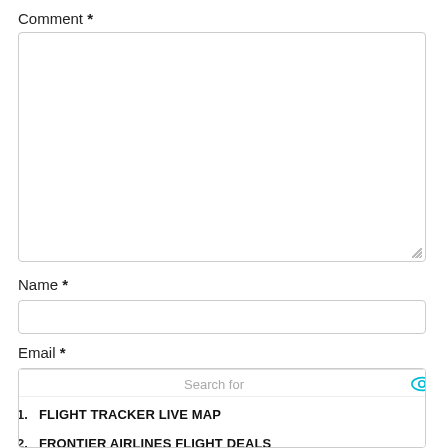Comment *
[Figure (screenshot): Empty comment textarea with resize handle in bottom-right corner]
Name *
[Figure (screenshot): Empty name text input field]
Email *
[Figure (screenshot): Partial email input field with an overlaid search ad panel showing: Search for [eye icon], 1. FLIGHT TRACKER LIVE MAP [chevron], 2. FRONTIER AIRLINES FLIGHT DEALS [chevron], and a send icon at the bottom]